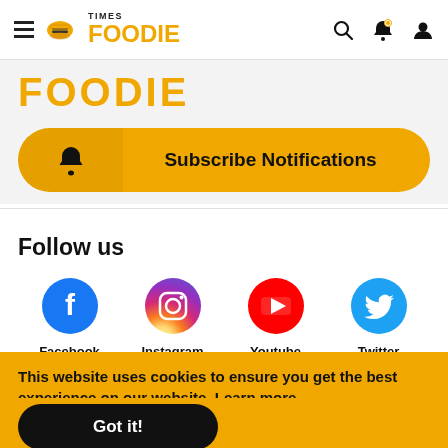Times Foodie — navigation bar with hamburger menu, logo, search, notification, and user icons
FOODIE
Subscribe Notifications
Follow us
Facebook
Instagram
Youtube
Twitter
This website uses cookies to ensure you get the best experience on our website. Learn more
Got it!